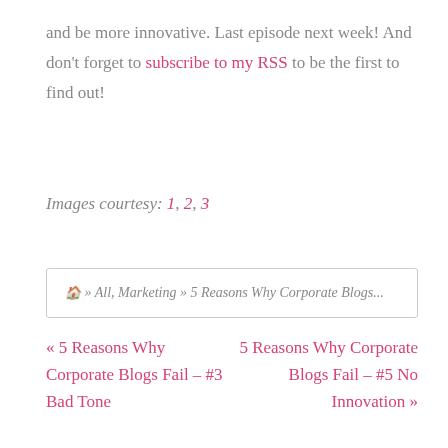and be more innovative. Last episode next week! And don't forget to subscribe to my RSS to be the first to find out!
Images courtesy: 1, 2, 3
🏠 » All, Marketing » 5 Reasons Why Corporate Blogs...
« 5 Reasons Why Corporate Blogs Fail – #3 Bad Tone
5 Reasons Why Corporate Blogs Fail – #5 No Innovation »